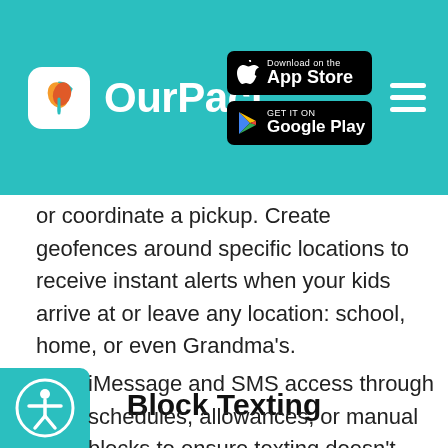OurPact
or coordinate a pickup. Create geofences around specific locations to receive instant alerts when your kids arrive at or leave any location: school, home, or even Grandma's.
Block Texting
iMessage and SMS access through schedules, allowances, or manual blocks to ensure texting doesn't cause distractions during homework time or